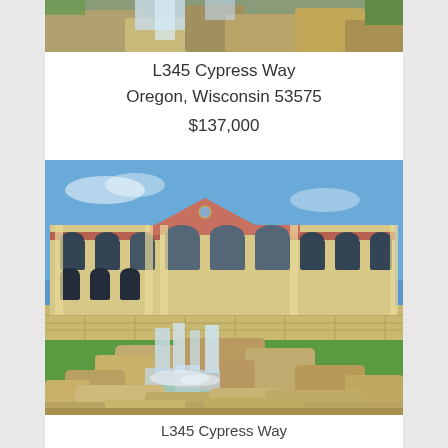[Figure (photo): Top portion of a waterfall and rocks photo, cropped at top of page]
L345 Cypress Way
Oregon, Wisconsin 53575
$137,000
[Figure (photo): Large photo of a grand Mediterranean-style building with arched windows and a stone waterfall feature in the foreground, set against a blue sky with green lawn]
L345 Cypress Way